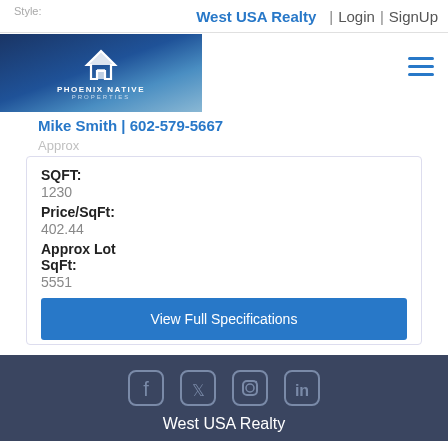Style: | West USA Realty | Login | SignUp
[Figure (logo): Phoenix Native Properties logo banner with mountain landscape background]
Mike Smith | 602-579-5667
Approx
SQFT:
1230
Price/SqFt:
402.44
Approx Lot SqFt:
5551
View Full Specifications
West USA Realty